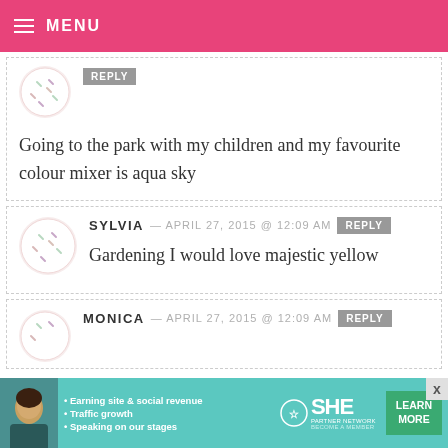MENU
Going to the park with my children and my favourite colour mixer is aqua sky
SYLVIA — APRIL 27, 2015 @ 12:09 AM
Gardening I would love majestic yellow
MONICA — APRIL 27, 2015 @ 12:09 AM
[Figure (infographic): SHE Partner Network advertisement banner with bullet points about earning site and social revenue, traffic growth, speaking on stages, logo and Learn More button]